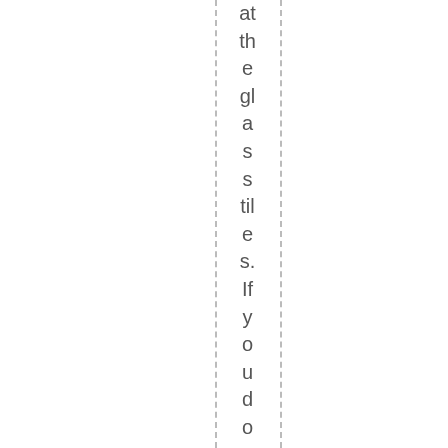at the glass tiles. If you don't finish inclас